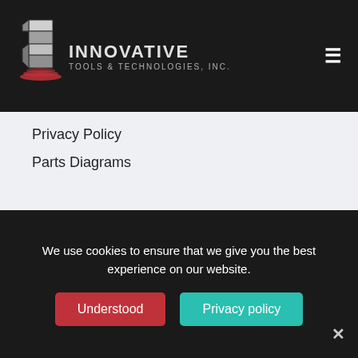[Figure (logo): Innovative Tools & Technologies, Inc. logo with stacked cube icon and red layered base, white text on black header background]
Privacy Policy
Parts Diagrams
[Figure (logo): Large Innovative Tools & Technologies logo icon (stacked cubes with red base) centered on grey background]
We use cookies to ensure that we give you the best experience on our website.
Understood
Privacy policy